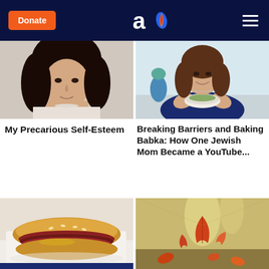Donate | Aish logo | Menu
[Figure (photo): Young man with long dark curly hair, light blue background]
[Figure (photo): Smiling woman holding a bowl in a kitchen]
My Precarious Self-Esteem
Breaking Barriers and Baking Babka: How One Jewish Mom Became a YouTube...
[Figure (photo): Pastrami sandwich on a plate]
[Figure (photo): Autumn leaf falling on a street]